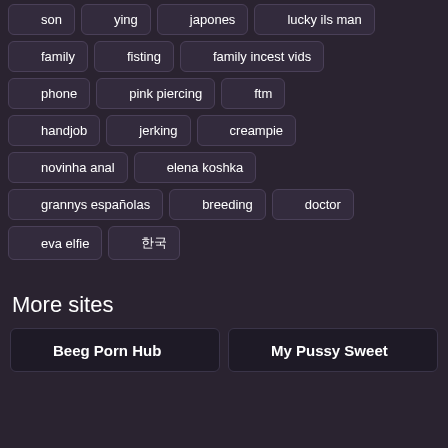son
ying
japones
lucky ils man
family
fisting
family incest vids
phone
pink piercing
ftm
handjob
jerking
creampie
novinha anal
elena koshka
grannys españolas
breeding
doctor
eva elfie
한국
More sites
Beeg Porn Hub
My Pussy Sweet